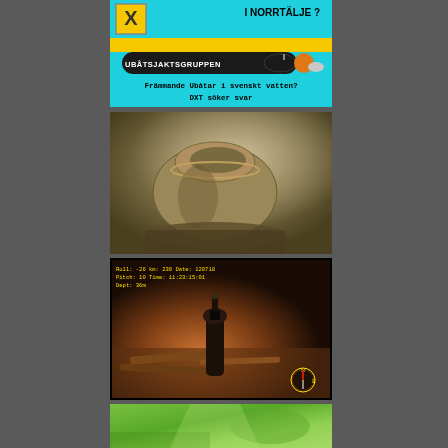[Figure (illustration): Swedish submarine-hunting group banner. Cyan/teal background with Swedish flag colors (yellow/blue). Shows stylized X logo, text 'I NORRTÄLJE ?' at top, black submarine shape labeled 'UBÅTSJAKTSGRUPPEN', and text 'Främmande Ubåtar i svenskt vatten? DXT söker svar']
[Figure (photo): Underwater photograph of what appears to be a ceramic or clay pot/vessel partially buried in sediment on the seafloor. Image has brownish-green murky water tones.]
[Figure (screenshot): ROV (remotely operated vehicle) camera footage showing an underwater object, possibly a bottle or valve, on the seafloor. HUD overlay with telemetry data visible: Roll, Pitch, Depth readings and date/time stamp '120718' and '11:23:15:01'. Compass indicator visible in bottom right corner.]
[Figure (photo): Partial view of an underwater photograph with green tinted illumination, appears to show some structure or object below the surface.]